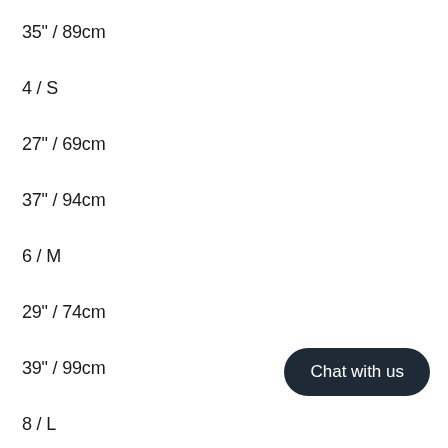35" / 89cm
4 / S
27" / 69cm
37" / 94cm
6 / M
29" / 74cm
39" / 99cm
8 / L
Chat with us